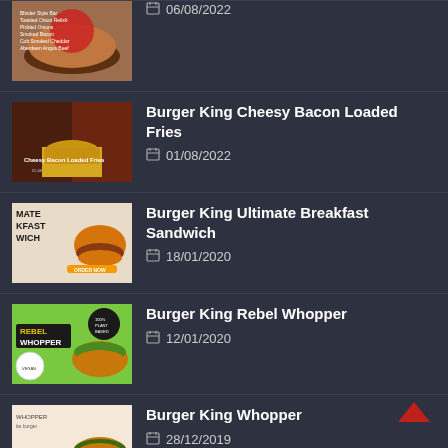06/08/2022
Burger King Cheesy Bacon Loaded Fries
01/08/2022
Burger King Ultimate Breakfast Sandwich
18/01/2020
Burger King Rebel Whopper
12/01/2020
Burger King Whopper
28/12/2019